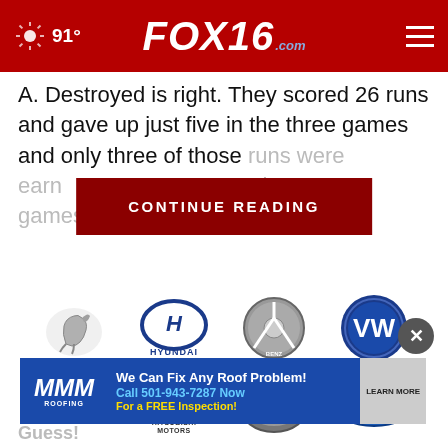FOX16.com — 91°
A. Destroyed is right. They scored 26 runs and gave up just five in the three games and only three of those runs were earn... the three games.
[Figure (screenshot): CONTINUE READING button overlay in dark red]
[Figure (illustration): Car brand logos: Mustang, Hyundai, Mercedes-Benz, Volkswagen (top row); Volvo, Mitsubishi Motors, Daihatsu, Ford (bottom row)]
[Figure (infographic): MMM Roofing advertisement: We Can Fix Any Roof Problem! Call 501-943-7287 Now For a FREE Inspection! LEARN MORE]
Guess!